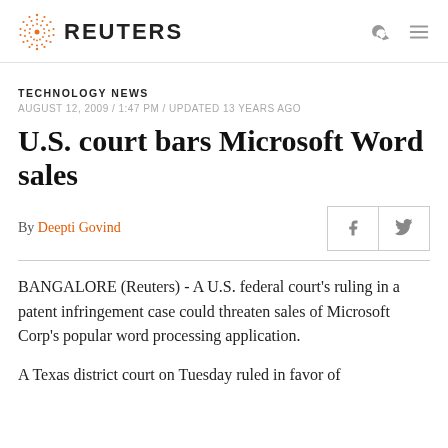REUTERS
TECHNOLOGY NEWS
AUGUST 12, 2009 / 1:47 PM / UPDATED 13 YEARS AGO
U.S. court bars Microsoft Word sales
By Deepti Govind
BANGALORE (Reuters) - A U.S. federal court's ruling in a patent infringement case could threaten sales of Microsoft Corp's popular word processing application.
A Texas district court on Tuesday ruled in favor of